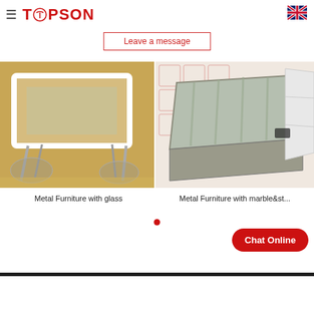TOPSON
Leave a message
[Figure (photo): Metal furniture with glass top table and chrome/glass chairs in a room setting]
Metal Furniture with glass
[Figure (photo): Metal furniture with marble and stone top side table, viewed from above at an angle, with geometric patterned floor]
Metal Furniture with marble&st...
Chat Online